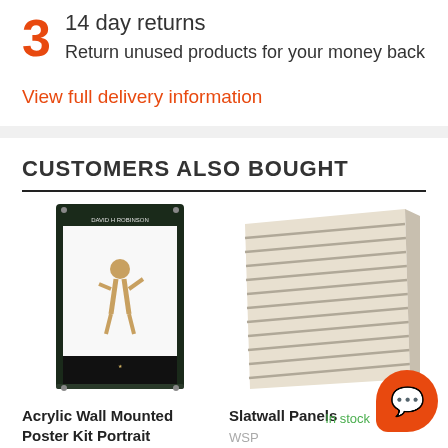3 14 day returns
Return unused products for your money back
View full delivery information
CUSTOMERS ALSO BOUGHT
[Figure (photo): Acrylic wall mounted poster kit portrait — framed poster display with a basketball player image inside]
Acrylic Wall Mounted Poster Kit Portrait
WMAUK
[Figure (photo): Slatwall Panels — cream/beige colored slatwall panel board with horizontal grooves]
Slatwall Panels
WSP
In stock